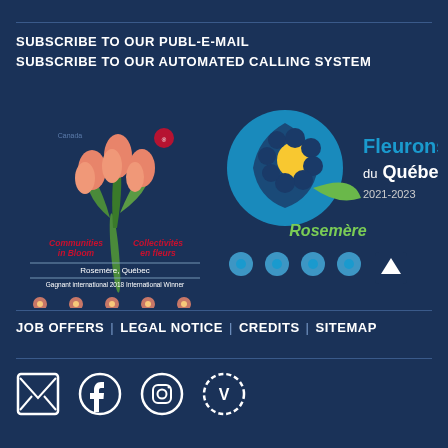SUBSCRIBE TO OUR PUBL-E-MAIL
SUBSCRIBE TO OUR AUTOMATED CALLING SYSTEM
[Figure (logo): Communities in Bloom / Collectivités en fleurs logo with tulip flowers. Canada badge. Rosemère, Québec. Gagnant international 2018 International Winner. Five orange flower icons.]
[Figure (logo): Fleurons du Québec 2021-2023 logo with blue flower swirl and Rosemère text. Four blue flower icons.]
JOB OFFERS | LEGAL NOTICE | CREDITS | SITEMAP
[Figure (infographic): Social media icons row: email envelope, Facebook circle, Instagram circle, Viadeo circle]